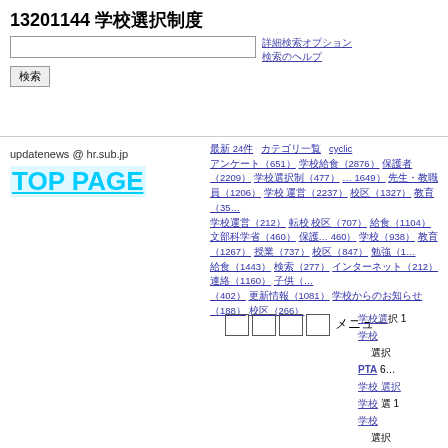13201144 学校選択制度
updatenews @ hr.sub.jp
TOP PAGE
最新 24件 カテゴリ一覧 cyclic アンケート（651）学校給食（2876）保護者（2209）学校選択制（477）… ( 1649）先生・教職員（1206）学校 運営（2237）校区（1327）教育（35… 460）学校運営（212）転校 校区（707）給食（1104）文部科学省（460）保護… 460）学校（938）教育（1267）授業（737）校区（847）勉強（1… 給食（1443）検索（277）インターネット（212）連絡（1160）子供（… （402）更新情報（1081）学校からのお知らせ（188）校区（266）
Twitterでフォロー
メニュー
学校選 択 10 学校 選択 PTA 6… 学校 選択 学校 選 10 学校 選択